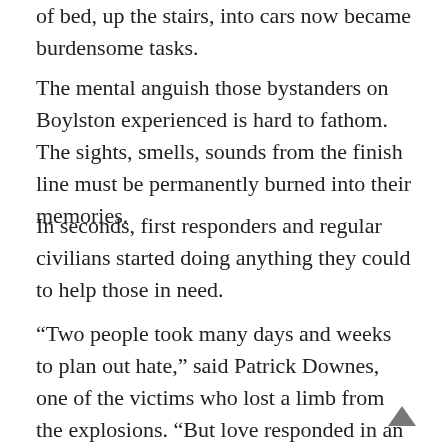of bed, up the stairs, into cars now became burdensome tasks.
The mental anguish those bystanders on Boylston experienced is hard to fathom. The sights, smells, sounds from the finish line must be permanently burned into their memories.
In seconds, first responders and regular civilians started doing anything they could to help those in need.
“Two people took many days and weeks to plan out hate,” said Patrick Downes, one of the victims who lost a limb from the explosions. “But love responded in an instant. The bombs went off and reeked incredible havoc, death, and destruction. But in that immediate instant afterward, people ran toward us.”